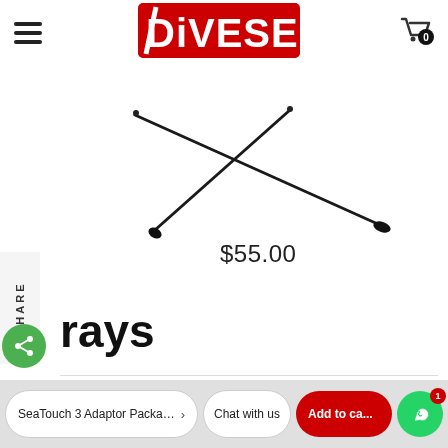DIVESEA
[Figure (photo): Two crossed thin rods with small black tips, resembling pointer rods or laser pointers, crossed in an X shape on white background]
$55.00
SHARE
rays
Nitescuba Underwater Camera Tray
SeaTouch 3 Adaptor Package 1 (Huaw
Chat with us
Add to ca...